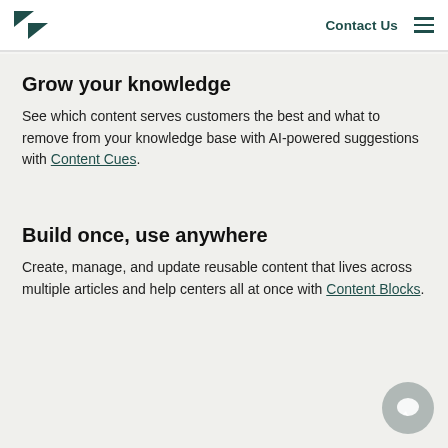Zendesk logo | Contact Us | Menu
Grow your knowledge
See which content serves customers the best and what to remove from your knowledge base with AI-powered suggestions with Content Cues.
Build once, use anywhere
Create, manage, and update reusable content that lives across multiple articles and help centers all at once with Content Blocks.